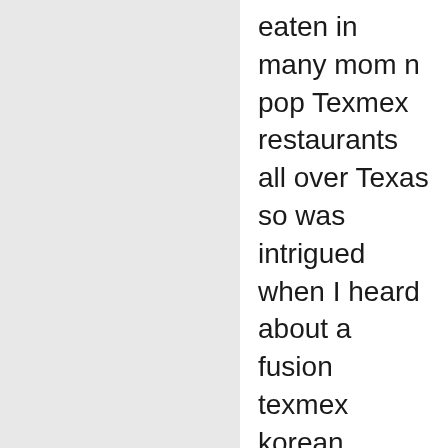eaten in many mom n pop Texmex restaurants all over Texas so was intrigued when I heard about a fusion texmex korean bar/grill. Like all True Texans know real texmex is the best at the local mom and pop places and not El Chicos.  First I like the fact its located in old downtown Nampodong. A very nice place to visit.
The mood and feel of the restaurant was very nice. Waitress could be friendlier but i came for the food so we began to order. My friends and I ordered kimchi